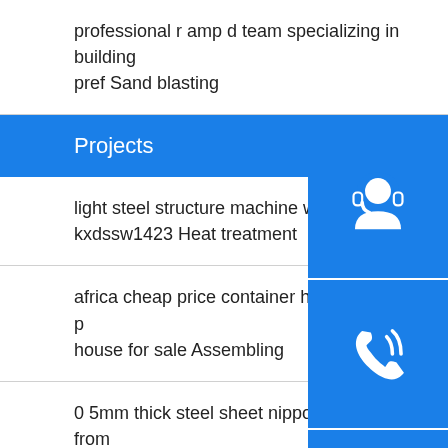professional r amp d team specializing in building pref Sand blasting
Projects
light steel structure machine workshop building kxdssw1423 Heat treatment
africa cheap price container house quick build p house for sale Assembling
0 5mm thick steel sheet nippon paint roof price from china supplier Hole drillin
prefabricated steel structure store hay warehouse kxd 95 Welding